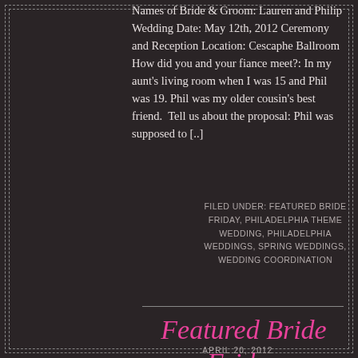Names of Bride & Groom: Lauren and Philip Wedding Date: May 12th, 2012 Ceremony and Reception Location: Cescaphe Ballroom How did you and your fiance meet?: In my aunt's living room when I was 15 and Phil was 19. Phil was my older cousin's best friend.  Tell us about the proposal: Phil was supposed to [..]
0  FILED UNDER: FEATURED BRIDE FRIDAY, PHILADELPHIA THEME WEDDING, PHILADELPHIA WEDDINGS, SPRING WEDDINGS, WEDDING COORDINATION
Featured Bride Friday
APRIL 20, 2012